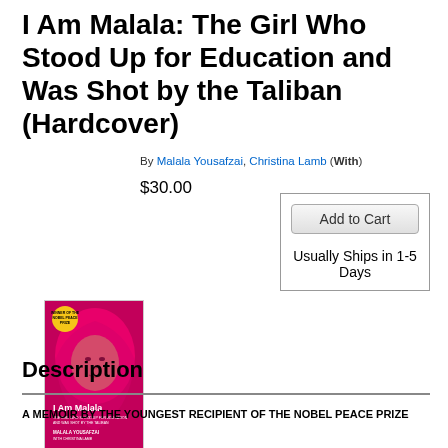I Am Malala: The Girl Who Stood Up for Education and Was Shot by the Taliban (Hardcover)
[Figure (illustration): Book cover of 'I Am Malala' showing a young woman in a pink/magenta hijab with a yellow Nobel Prize badge on the cover, with the title and author name displayed.]
By Malala Yousafzai, Christina Lamb (With)
$30.00
Add to Cart
Usually Ships in 1-5 Days
Get the Digital Audio
Description
A MEMOIR BY THE YOUNGEST RECIPIENT OF THE NOBEL PEACE PRIZE